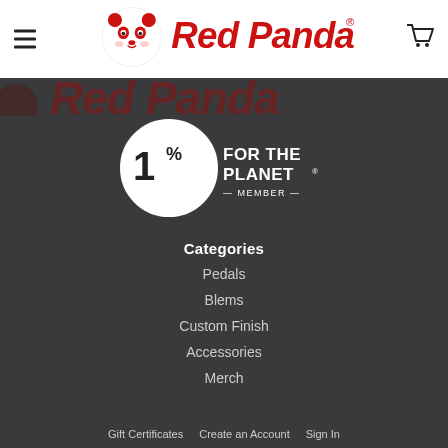[Figure (logo): Red Panda logo with panda mascot illustration and 'Red Panda' text in red script font]
[Figure (logo): 1% For The Planet Member badge - circular badge with '1%' and text 'FOR THE PLANET — MEMBER —']
Categories
Pedals
Blems
Custom Finish
Accessories
Merch
Gift Certificates   Create an Account   Sign In